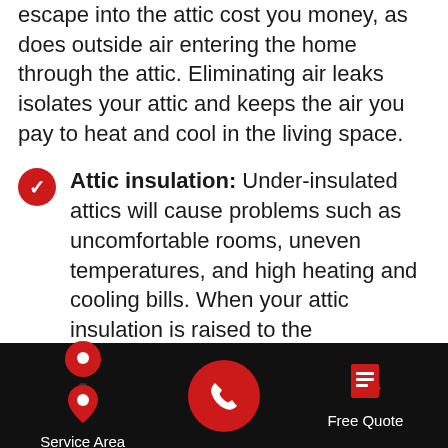escape into the attic cost you money, as does outside air entering the home through the attic. Eliminating air leaks isolates your attic and keeps the air you pay to heat and cool in the living space.
Attic insulation: Under-insulated attics will cause problems such as uncomfortable rooms, uneven temperatures, and high heating and cooling bills. When your attic insulation is raised to the recommended levels, it will prevent heat transfer between the attic and the rooms below, allowing your heating and cooling systems to run less frequently and for shorter times.
Ductwork services: Ductwork in the attic has
[Figure (infographic): Black bottom navigation bar with three items: Service Area (map pin icon), a central red circle phone call button, and Free Quote (document icon). White text labels below icons.]